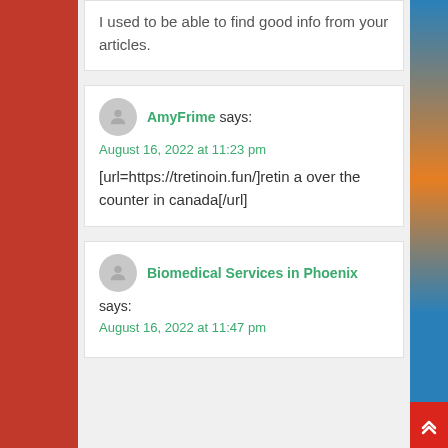I used to be able to find good info from your articles.
AmyFrime says:
August 16, 2022 at 11:23 pm
[url=https://tretinoin.fun/]retin a over the counter in canada[/url]
Biomedical Services in Phoenix says:
August 16, 2022 at 11:47 pm